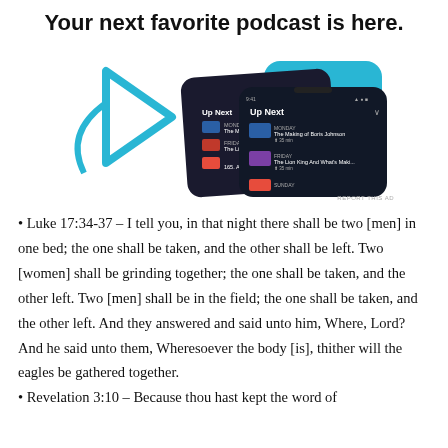Your next favorite podcast is here.
[Figure (screenshot): Advertisement showing a podcast app interface with 'Up Next' queue on two dark-themed mobile phone screens, with cyan play button and decorative shapes in the background.]
REPORT THIS AD
Luke 17:34-37 – I tell you, in that night there shall be two [men] in one bed; the one shall be taken, and the other shall be left. Two [women] shall be grinding together; the one shall be taken, and the other left. Two [men] shall be in the field; the one shall be taken, and the other left. And they answered and said unto him, Where, Lord? And he said unto them, Wheresoever the body [is], thither will the eagles be gathered together.
Revelation 3:10 – Because thou hast kept the word of